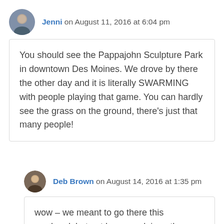Jenni on August 11, 2016 at 6:04 pm
You should see the Pappajohn Sculpture Park in downtown Des Moines. We drove by there the other day and it is literally SWARMING with people playing that game. You can hardly see the grass on the ground, there’s just that many people!
Deb Brown on August 14, 2016 at 1:35 pm
wow – we meant to go there this weekend, but got hung up doing other things in Des Moines!